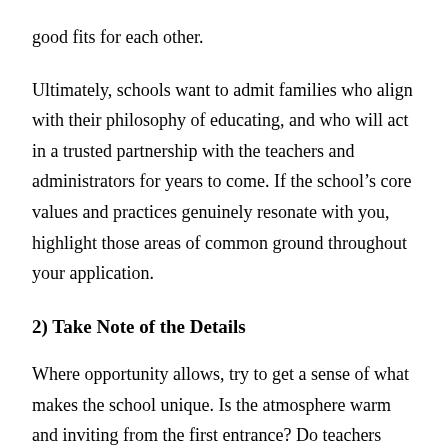good fits for each other.
Ultimately, schools want to admit families who align with their philosophy of educating, and who will act in a trusted partnership with the teachers and administrators for years to come. If the school’s core values and practices genuinely resonate with you, highlight those areas of common ground throughout your application.
2) Take Note of the Details
Where opportunity allows, try to get a sense of what makes the school unique. Is the atmosphere warm and inviting from the first entrance? Do teachers document student projects in the hallways? When you learned the